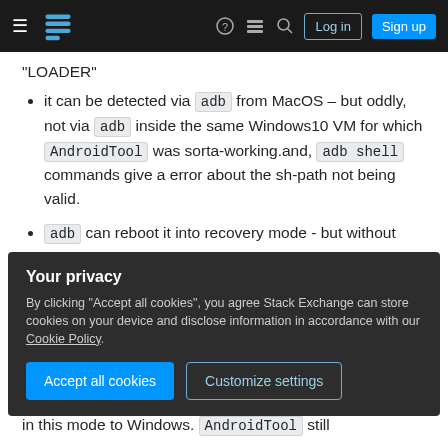Stack Exchange navigation bar with hamburger menu, logo, help, chat, search, Log in, Sign up buttons
"LOADER"
it can be detected via adb from MacOS – but oddly, not via adb inside the same Windows10 VM for which AndroidTool was sorta-working.and, adb shell commands give a error about the sh-path not being valid.
adb can reboot it into recovery mode - but without physical buttons, no navigation/selection from the recovery menu is yet possible, and it does not appear to adb or
Your privacy
By clicking "Accept all cookies", you agree Stack Exchange can store cookies on your device and disclose information in accordance with our Cookie Policy.
Accept all cookies   Customize settings
in this mode to Windows. AndroidTool still